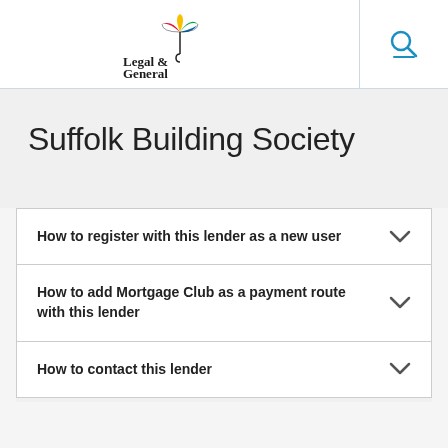[Figure (logo): Legal & General logo with multicoloured umbrella icon]
Suffolk Building Society
How to register with this lender as a new user
How to add Mortgage Club as a payment route with this lender
How to contact this lender